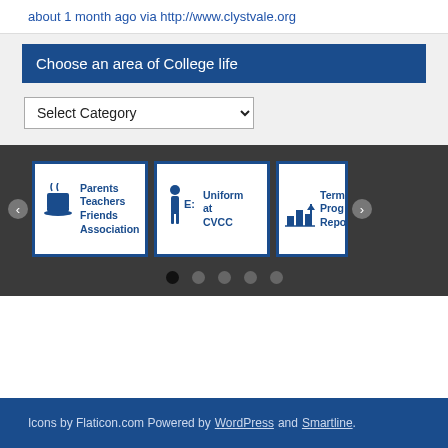about 1 month ago via http://www.clystvale.org
Choose an area of College life
Select Category
[Figure (screenshot): Carousel showing three tiles: 'Parents Teachers Friends Association', 'Uniform at CVCC', and a partially visible 'Term... Prog... Repo...' tile with icons, on a dark gray background with dot navigation indicators.]
Icons by Flaticon.com Powered by WordPress and Smartline.